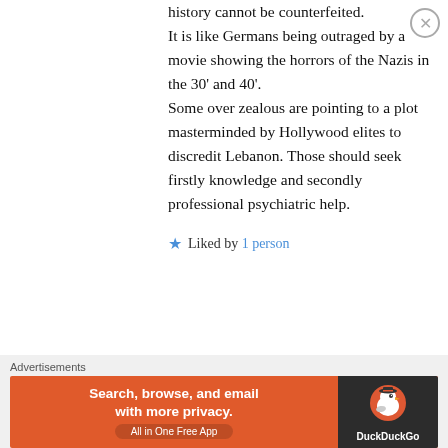history cannot be counterfeited. It is like Germans being outraged by a movie showing the horrors of the Nazis in the 30' and 40'. Some over zealous are pointing to a plot masterminded by Hollywood elites to discredit Lebanon. Those should seek firstly knowledge and secondly professional psychiatric help.
★ Liked by 1 person
↳ Reply
Dana on January 17, 2018 at 9:50 AM
Advertisements Search, browse, and email with more privacy. All in One Free App — DuckDuckGo